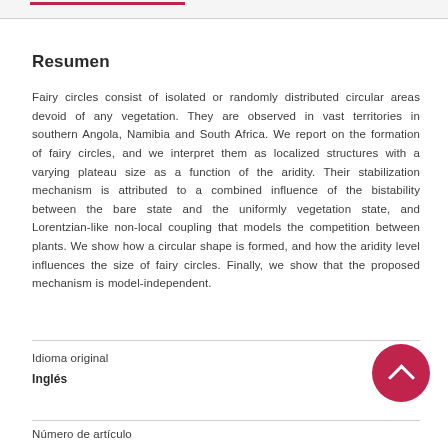Resumen
Fairy circles consist of isolated or randomly distributed circular areas devoid of any vegetation. They are observed in vast territories in southern Angola, Namibia and South Africa. We report on the formation of fairy circles, and we interpret them as localized structures with a varying plateau size as a function of the aridity. Their stabilization mechanism is attributed to a combined influence of the bistability between the bare state and the uniformly vegetation state, and Lorentzian-like non-local coupling that models the competition between plants. We show how a circular shape is formed, and how the aridity level influences the size of fairy circles. Finally, we show that the proposed mechanism is model-independent.
Idioma original
Inglés
Número de artículo